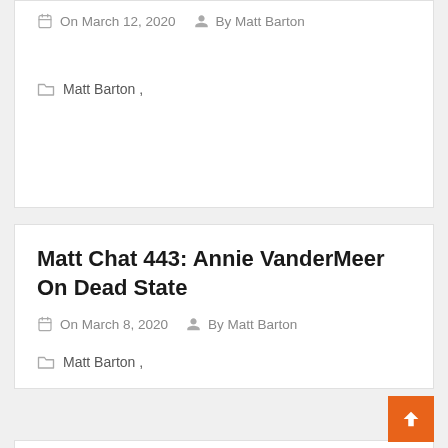On March 12, 2020  By Matt Barton
Matt Barton ,
Matt Chat 443: Annie VanderMeer On Dead State
On March 8, 2020  By Matt Barton
Matt Barton ,
Matt Chat 442: Annie VanderMeer On Storm Of Zehir, Guild Wars 2, Destiny
On March 2, 2020  By Matt Barton